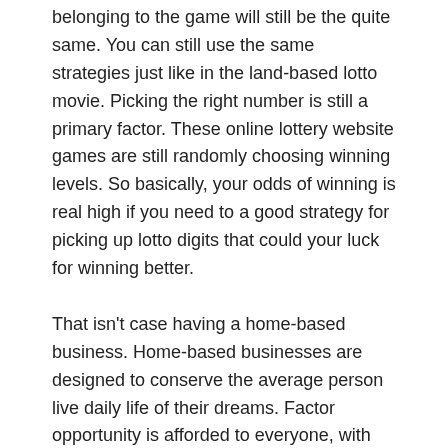belonging to the game will still be the quite same. You can still use the same strategies just like in the land-based lotto movie. Picking the right number is still a primary factor. These online lottery website games are still randomly choosing winning levels. So basically, your odds of winning is real high if you need to a good strategy for picking up lotto digits that could your luck for winning better.
That isn't case having a home-based business. Home-based businesses are designed to conserve the average person live daily life of their dreams. Factor opportunity is afforded to everyone, with one person has a better shot at fortune compared to a other, therefore the playing fields are leveled in the network marketing arena.
That is the reason it is recommended for you to employ a lottery number software to instantly generate rate of recurrence of solutions winning volumes. A lottery prediction software allows